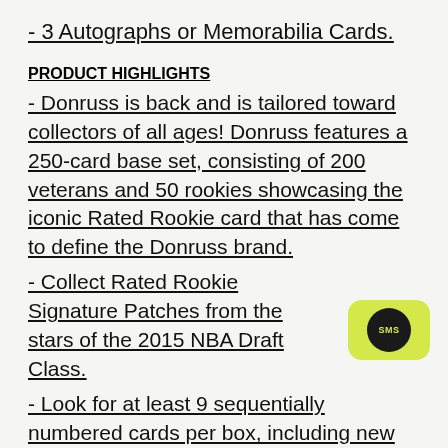- 3 Autographs or Memorabilia Cards.
PRODUCT HIGHLIGHTS
- Donruss is back and is tailored toward collectors of all ages! Donruss features a 250-card base set, consisting of 200 veterans and 50 rookies showcasing the iconic Rated Rookie card that has come to define the Donruss brand.
- Collect Rated Rookie Signature Patches from the stars of the 2015 NBA Draft Class.
- Look for at least 9 sequentially numbered cards per box, including new parallels that highlight player's points